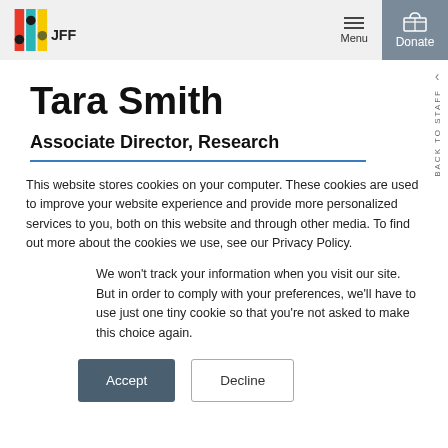JFF | Menu | Donate
Tara Smith
Associate Director, Research
This website stores cookies on your computer. These cookies are used to improve your website experience and provide more personalized services to you, both on this website and through other media. To find out more about the cookies we use, see our Privacy Policy.
We won't track your information when you visit our site. But in order to comply with your preferences, we'll have to use just one tiny cookie so that you're not asked to make this choice again.
Accept | Decline